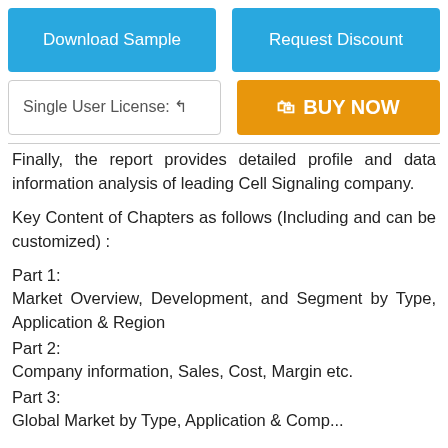[Figure (other): Download Sample button (blue)]
[Figure (other): Request Discount button (blue)]
[Figure (other): Single User License dropdown]
[Figure (other): BUY NOW button (orange)]
Finally, the report provides detailed profile and data information analysis of leading Cell Signaling company.
Key Content of Chapters as follows (Including and can be customized) :
Part 1:
Market Overview, Development, and Segment by Type, Application & Region
Part 2:
Company information, Sales, Cost, Margin etc.
Part 3:
Global Market by Type, Application & Company